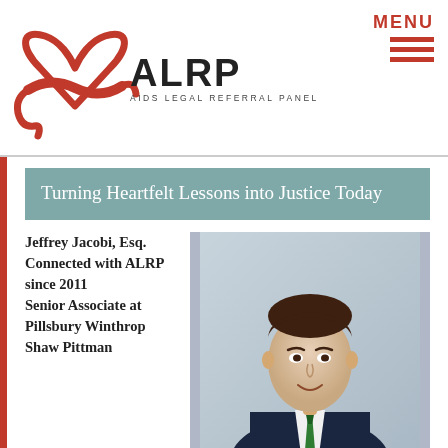[Figure (logo): ALRP AIDS Legal Referral Panel logo with red heart ribbon graphic on left and bold ALRP text with subtitle AIDS LEGAL REFERRAL PANEL]
MENU
Turning Heartfelt Lessons into Justice Today
Jeffrey Jacobi, Esq. Connected with ALRP since 2011 Senior Associate at Pillsbury Winthrop Shaw Pittman
[Figure (photo): Professional headshot of Jeffrey Jacobi, a man in a dark suit with a green tie, smiling, against a light blue-grey background]